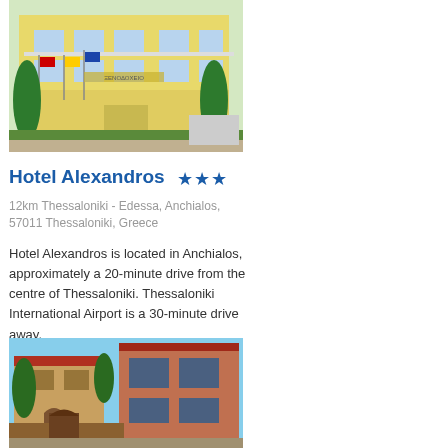[Figure (photo): Exterior of Hotel Alexandros - a yellow multi-storey building with balconies and flags in front, surrounded by green shrubs]
Hotel Alexandros ★★★
12km Thessaloniki - Edessa, Anchialos, 57011 Thessaloniki, Greece
Hotel Alexandros is located in Anchialos, approximately a 20-minute drive from the centre of Thessaloniki. Thessaloniki International Airport is a 30-minute drive away.
[Figure (photo): Exterior of another hotel or villa - a Mediterranean-style stone and stucco building with red-tiled roofs and a gate]